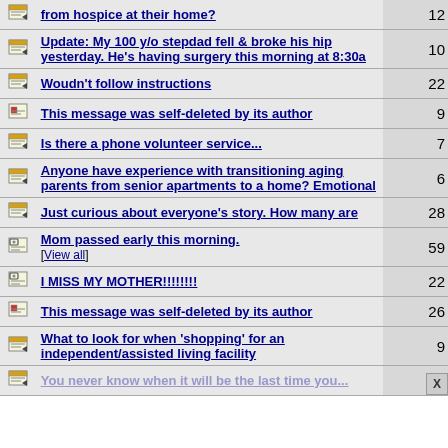|  | Topic | Replies |
| --- | --- | --- |
| [icon] | from hospice at their home? | 12 |
| [icon] | Update: My 100 y/o stepdad fell & broke his hip yesterday. He's having surgery this morning at 8:30a | 10 |
| [icon] | Woudn't follow instructions | 22 |
| [icon] | This message was self-deleted by its author | 9 |
| [icon] | Is there a phone volunteer service... | 7 |
| [icon] | Anyone have experience with transitioning aging parents from senior apartments to a home? Emotional | 6 |
| [icon] | Just curious about everyone's story. How many are | 28 |
| [icon] | Mom passed early this morning. [View all] | 59 |
| [icon] | I MISS MY MOTHER!!!!!!!!  | 22 |
| [icon] | This message was self-deleted by its author | 26 |
| [icon] | What to look for when 'shopping' for an independent/assisted living facility | 9 |
| [icon] | You never know when it will be the last time you... |  |